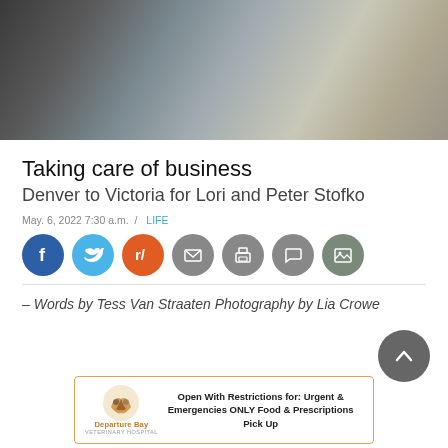[Figure (photo): Two people standing close together outdoors near a rocky shoreline with water in background]
Taking care of business
Denver to Victoria for Lori and Peter Stofko
May. 6, 2022 7:30 a.m. / LIFE
[Figure (infographic): Social media sharing icons: Facebook, Twitter, Reddit, Email, Print, Comment, Gallery]
– Words by Tess Van Straaten Photography by Lia Crowe
[Figure (infographic): Departure Bay Veterinary Hospital advertisement: Open With Restrictions for: Urgent & Emergencies ONLY Food & Prescriptions Pick Up]